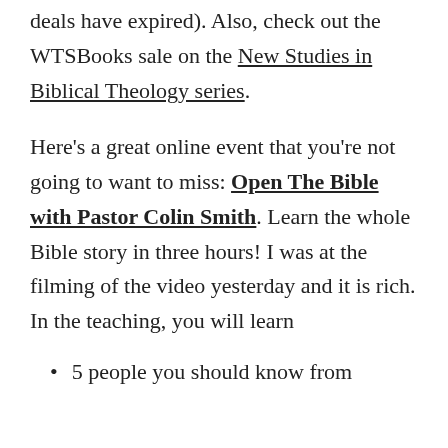deals have expired). Also, check out the WTSBooks sale on the New Studies in Biblical Theology series.
Here's a great online event that you're not going to want to miss: Open The Bible with Pastor Colin Smith. Learn the whole Bible story in three hours! I was at the filming of the video yesterday and it is rich. In the teaching, you will learn
5 people you should know from